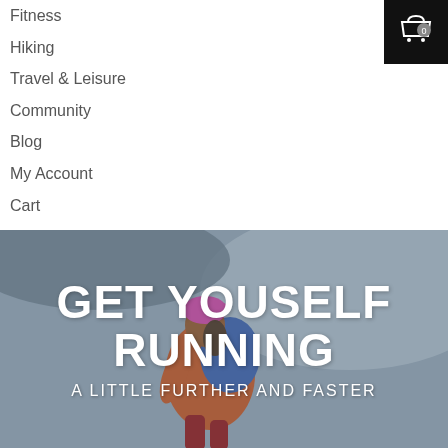Fitness
Hiking
Travel & Leisure
Community
Blog
My Account
Cart
Wishlist
[Figure (illustration): Shopping cart icon in white on black background with '0' badge]
[Figure (photo): Person wearing pink hat and orange jacket with blue backpack hiking in misty/grey conditions]
GET YOUSELF RUNNING
A LITTLE FURTHER AND FASTER